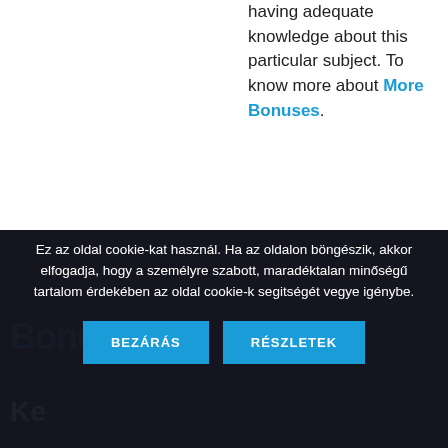having adequate knowledge about this particular subject. To know more about More Bonuses.
Ez az oldal cookie-kat használ. Ha az oldalon böngészik, akkor elfogadja, hogy a személyre szabott, maradéktalan minőségű tartalom érdekében az oldal cookie-k segitségét vegye igénybe.
BEZÁRÁS
RÉSZLETEK